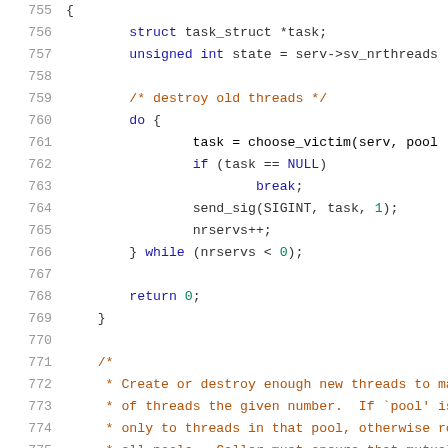[Figure (screenshot): Source code snippet (C language) showing lines 755-775 with syntax highlighting. Line numbers in gray on the left, keywords in blue, comments in orange/brown, numbers in green.]